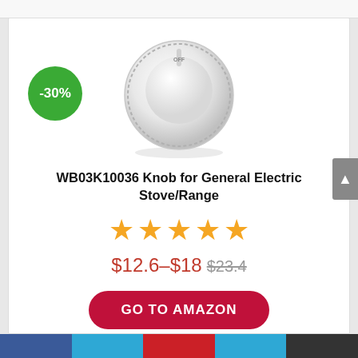[Figure (photo): White stove/range control knob with OFF label at top, circular shape with ridged sides, product image on white background]
[Figure (other): Green circular badge with -30% discount text]
WB03K10036 Knob for General Electric Stove/Range
[Figure (other): 5 orange star rating icons]
$12.6–$18 $23.4
GO TO AMAZON